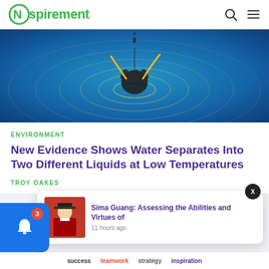Nspirement
[Figure (photo): Close-up water drop splash with blue water and golden/yellow ripples radiating outward, dark central impact point with droplets falling]
ENVIRONMENT
New Evidence Shows Water Separates Into Two Different Liquids at Low Temperatures
TROY OAKES
[Figure (screenshot): Notification popup showing article thumbnail of Sima Guang (Chinese scholar in red robes and black hat) with title 'Sima Guang: Assessing the Abilities and Virtues of' and timestamp '11 hours ago']
[Figure (infographic): Word cloud strip at bottom showing success, teamwork, strategy, inspiration in various colors]